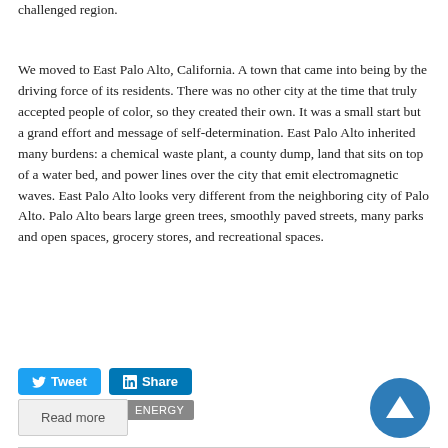challenged region.
We moved to East Palo Alto, California. A town that came into being by the driving force of its residents. There was no other city at the time that truly accepted people of color, so they created their own. It was a small start but a grand effort and message of self-determination. East Palo Alto inherited many burdens: a chemical waste plant, a county dump, land that sits on top of a water bed, and power lines over the city that emit electromagnetic waves. East Palo Alto looks very different from the neighboring city of Palo Alto. Palo Alto bears large green trees, smoothly paved streets, many parks and open spaces, grocery stores, and recreational spaces.
Tweet  Share
Related Stories:  ENERGY
Read more